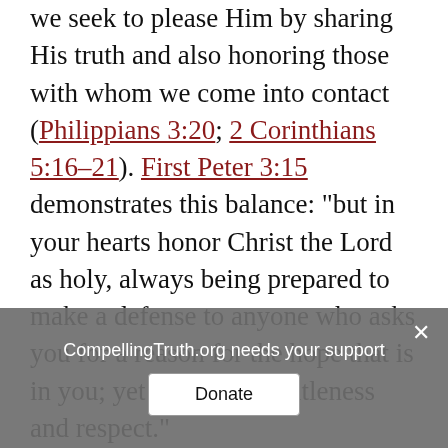we seek to please Him by sharing His truth and also honoring those with whom we come into contact (Philippians 3:20; 2 Corinthians 5:16–21). First Peter 3:15 demonstrates this balance: "but in your hearts honor Christ the Lord as holy, always being prepared to make a defense to anyone who asks you for a reason for the hope that is in you; yet do it with gentleness and respect."

Standing for Christ and the truth of His Word is countercultural and is bound to offend others. We simply will not be
CompellingTruth.org needs your support
Donate